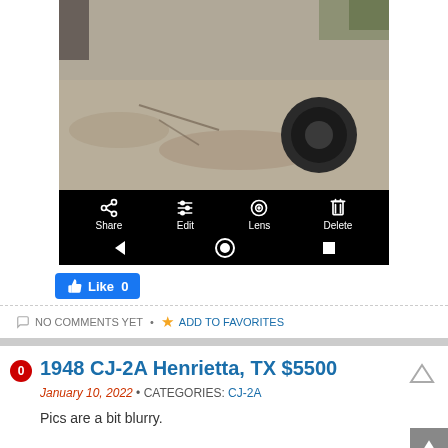[Figure (screenshot): Screenshot of a mobile phone gallery showing a photo of sandy ground with a tire, with a black Android toolbar at the bottom showing Share, Edit, Lens, Delete options and navigation buttons]
[Figure (other): Facebook Like button showing Like 0]
NO COMMENTS YET • ADD TO FAVORITES
1948 CJ-2A Henrietta, TX $5500
January 10, 2022 • CATEGORIES: CJ-2A
Pics are a bit blurry.